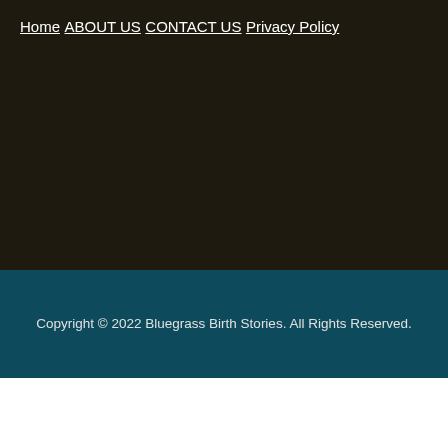Home
ABOUT US
CONTACT US
Privacy Policy
Copyright © 2022 Bluegrass Birth Stories. All Rights Reserved.